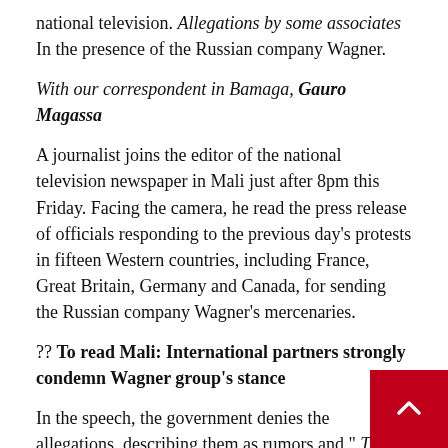national television. Allegations by some associates In the presence of the Russian company Wagner.
With our correspondent in Bamaga, Gauro Magassa
A journalist joins the editor of the national television newspaper in Mali just after 8pm this Friday. Facing the camera, he read the press release of officials responding to the previous day’s protests in fifteen Western countries, including France, Great Britain, Germany and Canada, for sending the Russian company Wagner’s mercenaries.
?? To read Mali: International partners strongly condemn Wagner group’s stance
In the speech, the government denies the allegations, describing them as rumors and “ These charges ”, ��” Evidence from independent sources is required .
To strengthen," Skills "Security forces only recognize the